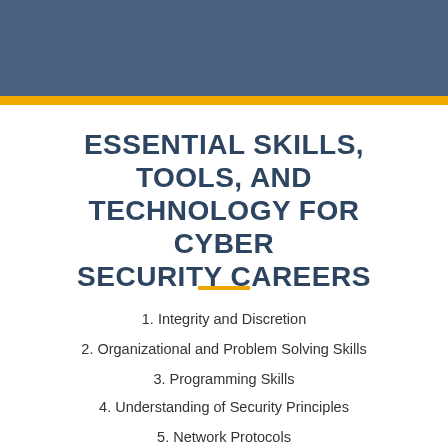[Figure (other): Dark steel-blue header banner spanning the full width at the top of the page]
ESSENTIAL SKILLS, TOOLS, AND TECHNOLOGY FOR CYBER SECURITY CAREERS
1. Integrity and Discretion
2. Organizational and Problem Solving Skills
3. Programming Skills
4. Understanding of Security Principles
5. Network Protocols
6. Malicious Codes and Intruder Techniques